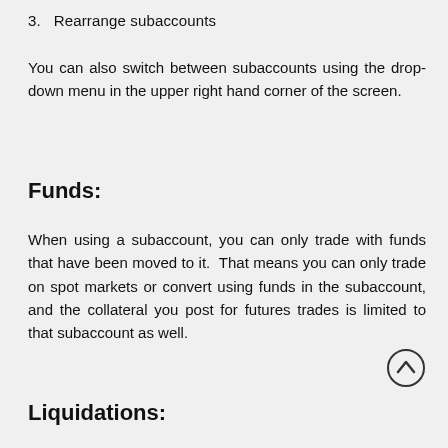3.   Rearrange subaccounts
You can also switch between subaccounts using the drop-down menu in the upper right hand corner of the screen.
Funds:
When using a subaccount, you can only trade with funds that have been moved to it.  That means you can only trade on spot markets or convert using funds in the subaccount, and the collateral you post for futures trades is limited to that subaccount as well.
Liquidations: